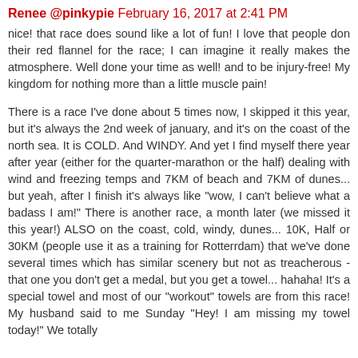Renee @pinkypie February 16, 2017 at 2:41 PM
nice! that race does sound like a lot of fun! I love that people don their red flannel for the race; I can imagine it really makes the atmosphere. Well done your time as well! and to be injury-free! My kingdom for nothing more than a little muscle pain!
There is a race I've done about 5 times now, I skipped it this year, but it's always the 2nd week of january, and it's on the coast of the north sea. It is COLD. And WINDY. And yet I find myself there year after year (either for the quarter-marathon or the half) dealing with wind and freezing temps and 7KM of beach and 7KM of dunes... but yeah, after I finish it's always like "wow, I can't believe what a badass I am!" There is another race, a month later (we missed it this year!) ALSO on the coast, cold, windy, dunes... 10K, Half or 30KM (people use it as a training for Rotterrdam) that we've done several times which has similar scenery but not as treacherous - that one you don't get a medal, but you get a towel... hahaha! It's a special towel and most of our "workout" towels are from this race! My husband said to me Sunday "Hey! I am missing my towel today!" We totally